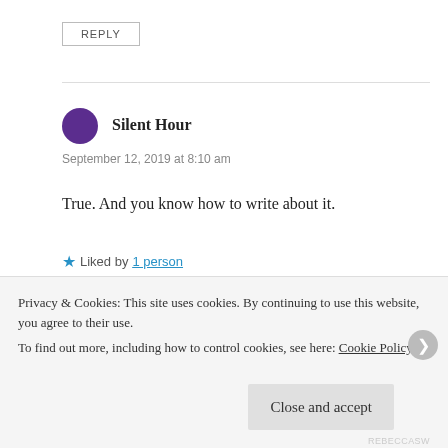REPLY
Silent Hour
September 12, 2019 at 8:10 am
True. And you know how to write about it.
Liked by 1 person
Watt
September 12, 2019 at 8:12 am
Privacy & Cookies: This site uses cookies. By continuing to use this website, you agree to their use.
To find out more, including how to control cookies, see here: Cookie Policy
Close and accept